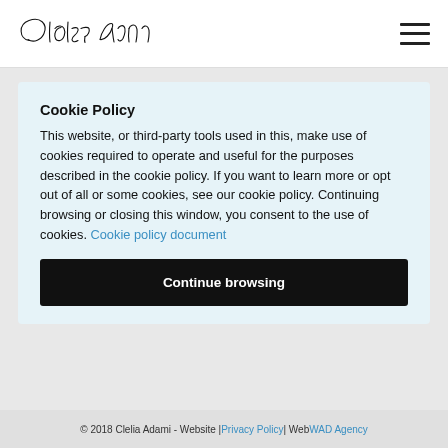[Figure (logo): Handwritten signature logo reading 'Clelia Adami']
Cookie Policy
This website, or third-party tools used in this, make use of cookies required to operate and useful for the purposes described in the cookie policy. If you want to learn more or opt out of all or some cookies, see our cookie policy. Continuing browsing or closing this window, you consent to the use of cookies. Cookie policy document
Continue browsing
© 2018 Clelia Adami - Website | Privacy Policy | Web WAD Agency